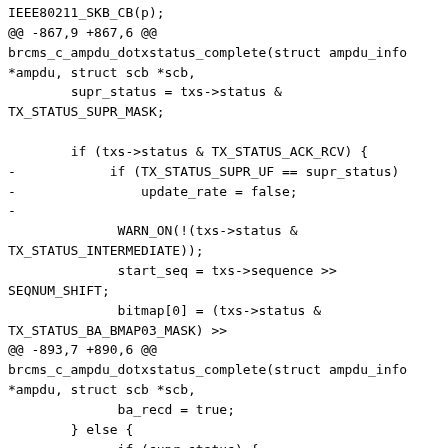IEEE80211_SKB_CB(p);
@@ -867,9 +867,6 @@
brcms_c_ampdu_dotxstatus_complete(struct ampdu_info
*ampdu, struct scb *scb,
        supr_status = txs->status &
TX_STATUS_SUPR_MASK;

        if (txs->status & TX_STATUS_ACK_RCV) {
-            if (TX_STATUS_SUPR_UF == supr_status)
-                update_rate = false;
-
              WARN_ON(!(txs->status &
TX_STATUS_INTERMEDIATE));
              start_seq = txs->sequence >>
SEQNUM_SHIFT;
              bitmap[0] = (txs->status &
TX_STATUS_BA_BMAP03_MASK) >>
@@ -893,7 +890,6 @@
brcms_c_ampdu_dotxstatus_complete(struct ampdu_info
*ampdu, struct scb *scb,
              ba_recd = true;
        } else {
              if (supr_status) {
-                update_rate = false;
              if (supr_status ==
TX_STATUS_SUPR_BADCH) {
                            brcms_dbg_ht(wlc->hw-
>d11core,
                                         "%s: Pkt tx
suppressed, illegal channel possibly %d\n",